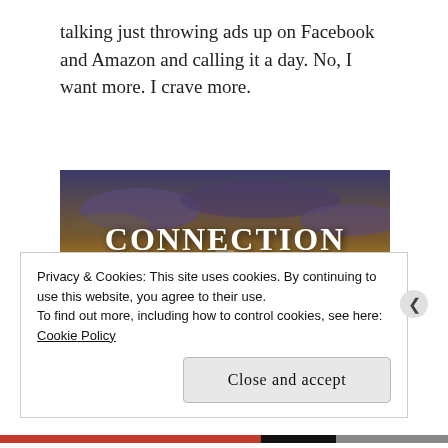talking just throwing ads up on Facebook and Amazon and calling it a day. No, I want more. I crave more.
[Figure (photo): A wide open road leading to a sunset with dramatic golden sky and silhouetted trees, overlaid with large white text reading 'CONNECTION AND COMMUNITY' and a white upward-pointing arrow at the bottom center.]
Privacy & Cookies: This site uses cookies. By continuing to use this website, you agree to their use.
To find out more, including how to control cookies, see here:
Cookie Policy
Close and accept